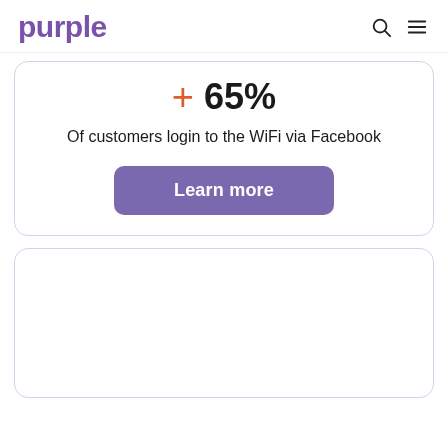purple
+ 65%
Of customers login to the WiFi via Facebook
Learn more